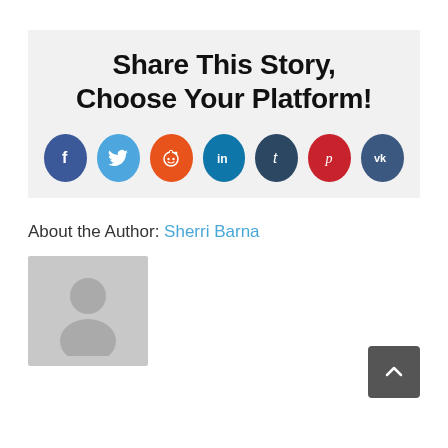Share This Story, Choose Your Platform!
[Figure (infographic): Row of 7 social media share icon buttons: Facebook (dark blue, f), Twitter (light blue, bird), Reddit (orange, alien), LinkedIn (teal, in), Tumblr (dark blue, t), Pinterest (dark red, p), VK (dark blue, VK)]
About the Author: Sherri Barna
[Figure (photo): Grey placeholder avatar silhouette image for author Sherri Barna]